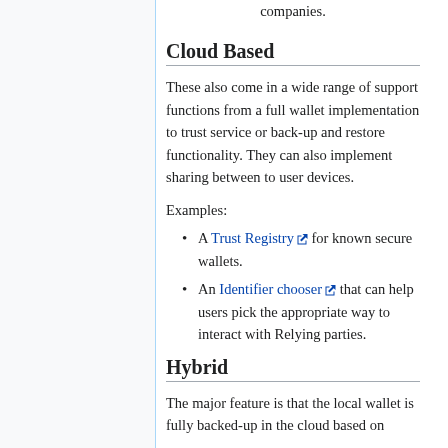companies.
Cloud Based
These also come in a wide range of support functions from a full wallet implementation to trust service or back-up and restore functionality. They can also implement sharing between to user devices.
Examples:
A Trust Registry for known secure wallets.
An Identifier chooser that can help users pick the appropriate way to interact with Relying parties.
Hybrid
The major feature is that the local wallet is fully backed-up in the cloud based on